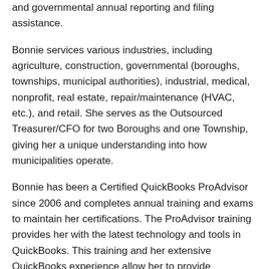and governmental annual reporting and filing assistance.
Bonnie services various industries, including agriculture, construction, governmental (boroughs, townships, municipal authorities), industrial, medical, nonprofit, real estate, repair/maintenance (HVAC, etc.), and retail. She serves as the Outsourced Treasurer/CFO for two Boroughs and one Township, giving her a unique understanding into how municipalities operate.
Bonnie has been a Certified QuickBooks ProAdvisor since 2006 and completes annual training and exams to maintain her certifications. The ProAdvisor training provides her with the latest technology and tools in QuickBooks. This training and her extensive QuickBooks experience allow her to provide QuickBooks services to clients, including software installation, setup, training, and continued software support.